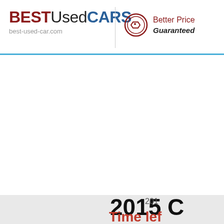BESTUsedCARS best-used-car.com | Better Price Guaranteed
[Figure (photo): Car image area (white/blank in this crop)]
2015 C
201
Time lef